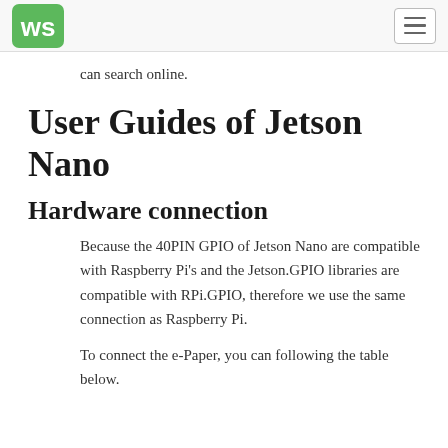Waveshare logo and navigation menu
can search online.
User Guides of Jetson Nano
Hardware connection
Because the 40PIN GPIO of Jetson Nano are compatible with Raspberry Pi's and the Jetson.GPIO libraries are compatible with RPi.GPIO, therefore we use the same connection as Raspberry Pi.
To connect the e-Paper, you can following the table below.